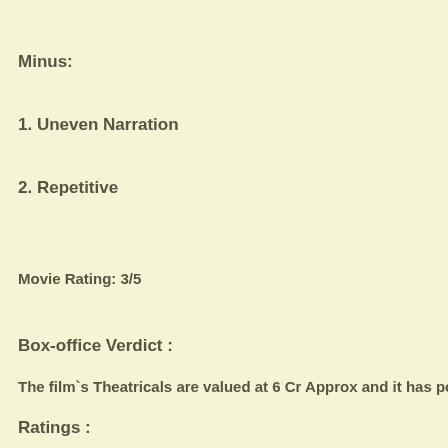Minus:
1. Uneven Narration
2. Repetitive
Movie Rating: 3/5
Box-office Verdict :
The film`s Theatricals are valued at 6 Cr Approx and it has potentia
Ratings :